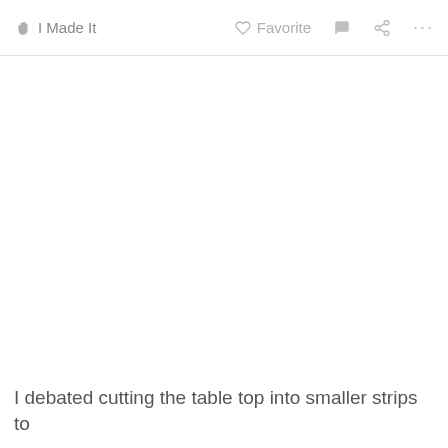✋ I Made It   ♡ Favorite   💬   ⎙   ...
I debated cutting the table top into smaller strips to